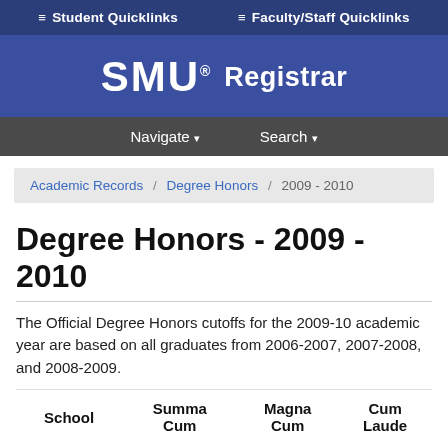≡ Student Quicklinks   ≡ Faculty/Staff Quicklinks
[Figure (logo): SMU Registrar logo on blue banner background]
Navigate ▾   Search ▾
Academic Records / Degree Honors / 2009 - 2010
Degree Honors - 2009 - 2010
The Official Degree Honors cutoffs for the 2009-10 academic year are based on all graduates from 2006-2007, 2007-2008, and 2008-2009.
| School | Summa Cum | Magna Cum | Cum Laude |
| --- | --- | --- | --- |